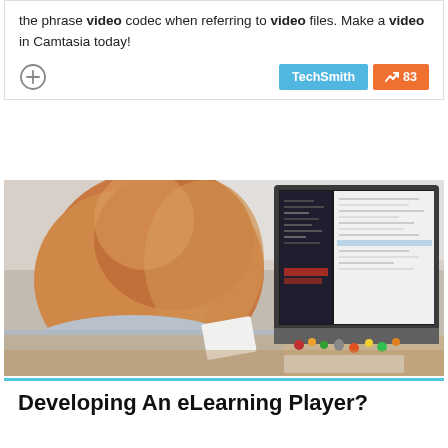the phrase video codec when referring to video files. Make a video in Camtasia today!
[Figure (logo): TechSmith button (cyan) and score badge (orange) showing 83 with trending arrow, plus a plus-circle icon on the left]
[Figure (photo): Woman with red-blonde hair viewed from behind, sitting at a desk looking at a large computer monitor displaying a dark-themed code editor and file browser. She is holding a tablet/notebook. Desk has keyboard and various items.]
Developing An eLearning Player?